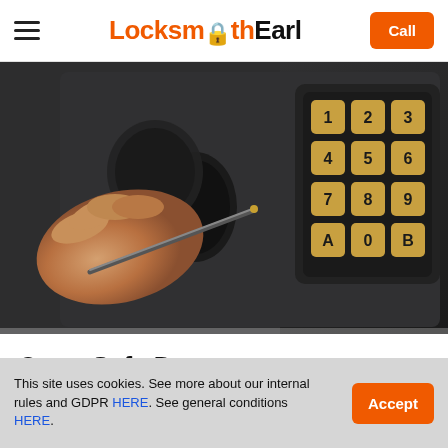Locksmith Earl — Call
[Figure (photo): A hand using a pick tool on the keyhole of a dark metal safe, with a numeric keypad showing digits 1-9, 0, A, B visible on the right side of the safe door.]
Open Safe Downe
This site uses cookies. See more about our internal rules and GDPR HERE. See general conditions HERE.